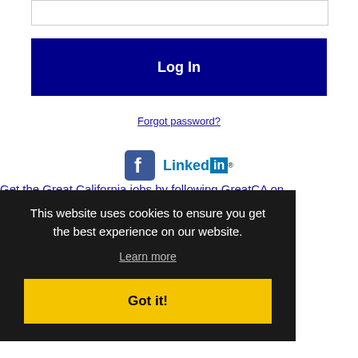[Figure (screenshot): Input field (password/text box) at top of login form]
Log In
Forgot password?
[Figure (logo): Facebook logo icon and LinkedIn logo side by side]
Get the Great California jobs by following GreatCA on
This website uses cookies to ensure you get the best experience on our website.
Learn more
Got it!